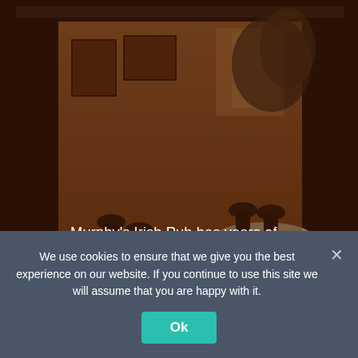[Figure (photo): Interior of Murphy's Irish Pub showing tables with white tablecloths, wooden Windsor-style chairs, framed pictures on walls, and warm amber/sepia toned lighting. A semi-private dining area is visible.]
Murphy's Irish Pub has years of experience in catering to large groups. We offer two semi-private
We use cookies to ensure that we give you the best experience on our website. If you continue to use this site we will assume that you are happy with it.